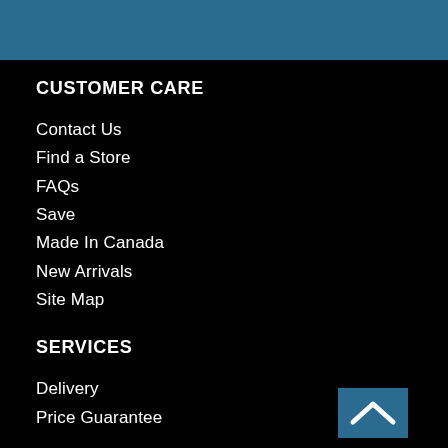[Figure (illustration): Blue horizontal bar at top of page]
CUSTOMER CARE
Contact Us
Find a Store
FAQs
Save
Made In Canada
New Arrivals
Site Map
SERVICES
Delivery
Price Guarantee
[Figure (illustration): Blue square button with white upward chevron arrow, back-to-top button]